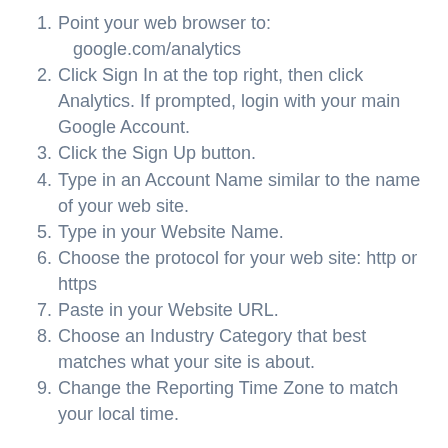Point your web browser to: google.com/analytics
Click Sign In at the top right, then click Analytics. If prompted, login with your main Google Account.
Click the Sign Up button.
Type in an Account Name similar to the name of your web site.
Type in your Website Name.
Choose the protocol for your web site: http or https
Paste in your Website URL.
Choose an Industry Category that best matches what your site is about.
Change the Reporting Time Zone to match your local time.